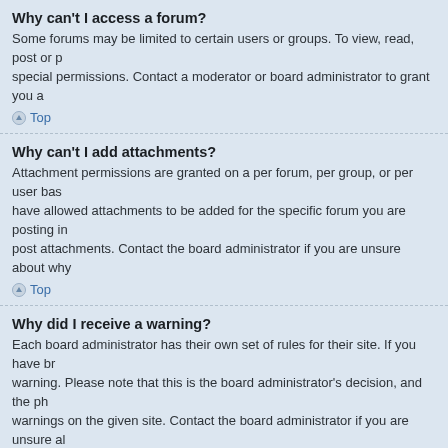Why can't I access a forum?
Some forums may be limited to certain users or groups. To view, read, post or perform another action you may need special permissions. Contact a moderator or board administrator to grant you a
Top
Why can't I add attachments?
Attachment permissions are granted on a per forum, per group, or per user basis. The board administrator may not have allowed attachments to be added for the specific forum you are posting in, or perhaps only certain groups can post attachments. Contact the board administrator if you are unsure about why
Top
Why did I receive a warning?
Each board administrator has their own set of rules for their site. If you have broken a rule, you may be issued a warning. Please note that this is the board administrator's decision, and the phpBB Group has nothing to do with the warnings on the given site. Contact the board administrator if you are unsure al
Top
How can I report posts to a moderator?
If the board administrator has allowed it, you should see a button for reporting posts next to the post you wish to report. Clicking this will walk you through the steps necessary to report the pos
Top
What is the “Save” button for in topic posting?
This allows you to save passages to be completed and submitted at a later date. To reload a saved passage, visit the User Control Panel.